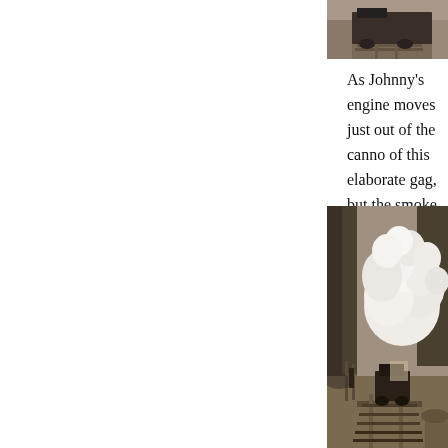[Figure (photo): Black and white / sepia photo of a train wagon on railway tracks viewed from behind, with earth and landscape in background.]
As Johnny's engine moves just out of the cannon of this elaborate gag, but the smoke quickly blo see the explosion in the distance near the Gener gasp in amazement at the moment's sheer phys before we start laughing.
[Figure (photo): Sepia-toned photograph of a steam locomotive on railway tracks with a massive white cloud of smoke/steam explosion billowing up, surrounded by trees and landscape.]